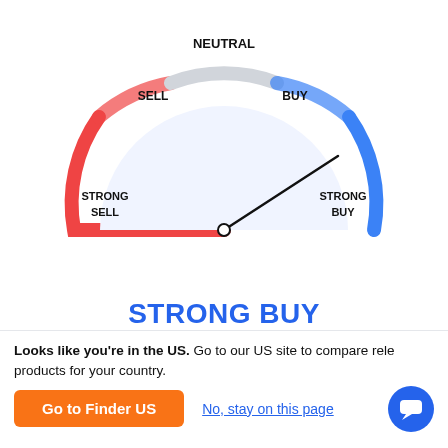[Figure (other): Gauge/speedometer chart showing STRONG BUY sentiment. The semicircular gauge has red arc on left (Sell/Strong Sell), gray arc at top (Neutral), and blue arc on right (Buy/Strong Buy). The needle points toward Strong Buy. Labels: NEUTRAL at top, SELL upper-left, BUY upper-right, STRONG SELL left, STRONG BUY right.]
STRONG BUY
1 Sell   9 Neutral   16 Buy
Technical Analysis of PayGroup Ltd by TradingView
Looks like you're in the US. Go to our US site to compare rele products for your country.
Go to Finder US
No, stay on this page